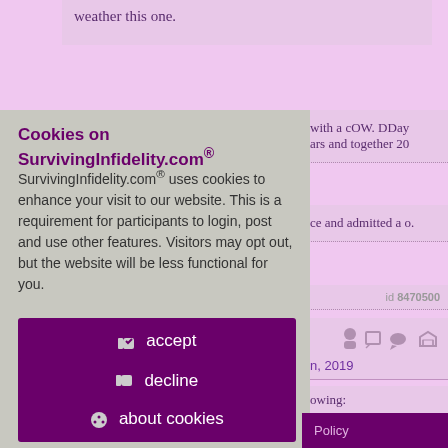weather this one.
with a cOW. DDay ars and together 20
ce and admitted a o.
id 8470500
n, 2019
owing:
Cookies on SurvivingInfidelity.com®
SurvivingInfidelity.com® uses cookies to enhance your visit to our website. This is a requirement for participants to login, post and use other features. Visitors may opt out, but the website will be less functional for you.
👍 accept
👎 decline
🍪 about cookies
Policy